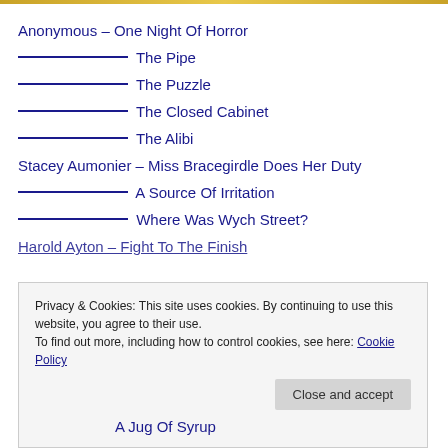Anonymous – One Night Of Horror
———-  The Pipe
———-  The Puzzle
———-  The Closed Cabinet
———-  The Alibi
Stacey Aumonier – Miss Bracegirdle Does Her Duty
———-  A Source Of Irritation
———-  Where Was Wych Street?
Harold Ayton – Fight To The Finish
A Jug Of Syrup
Privacy & Cookies: This site uses cookies. By continuing to use this website, you agree to their use. To find out more, including how to control cookies, see here: Cookie Policy